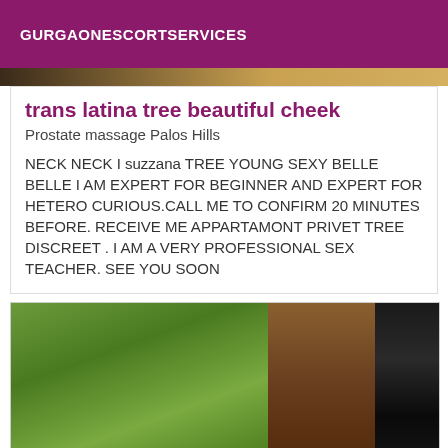GURGAONESCORTSERVICES
[Figure (photo): Top strip of a photo, cropped]
trans latina tree beautiful cheek
Prostate massage Palos Hills
NECK NECK I suzzana TREE YOUNG SEXY BELLE BELLE I AM EXPERT FOR BEGINNER AND EXPERT FOR HETERO CURIOUS.CALL ME TO CONFIRM 20 MINUTES BEFORE. RECEIVE ME APPARTAMONT PRIVET TREE DISCREET . I AM A VERY PROFESSIONAL SEX TEACHER. SEE YOU SOON
[Figure (photo): Photo showing green foliage background with partial view of person wearing leopard print and black lace fabric]